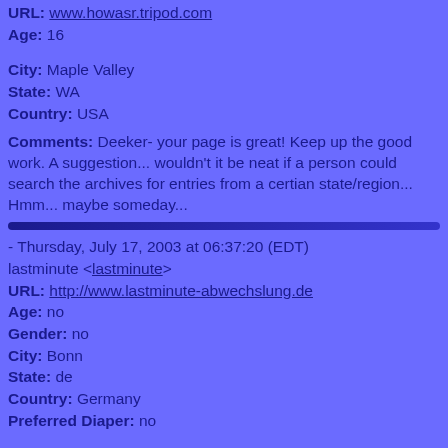URL: www.howasr.tripod.com
Age: 16
City: Maple Valley
State: WA
Country: USA
Comments: Deeker- your page is great! Keep up the good work. A suggestion... wouldn't it be neat if a person could search the archives for entries from a certian state/region... Hmm... maybe someday...
- Thursday, July 17, 2003 at 06:37:20 (EDT)
lastminute <lastminute>
URL: http://www.lastminute-abwechslung.de
Age: no
Gender: no
City: Bonn
State: de
Country: Germany
Preferred Diaper: no